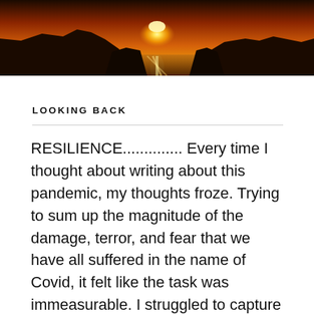[Figure (photo): A sunset photograph showing a dark silhouette of rocky cliffs and hills against an orange and golden sky, with the sun reflecting on water below.]
LOOKING BACK
RESILIENCE.............. Every time I thought about writing about this pandemic, my thoughts froze. Trying to sum up the magnitude of the damage, terror, and fear that we have all suffered in the name of Covid, it felt like the task was immeasurable. I struggled to capture the sheer scope of devastation when I